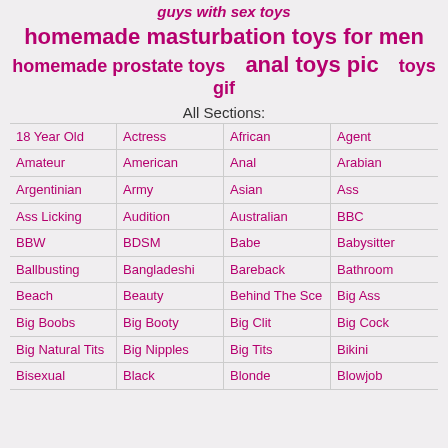guys with sex toys
homemade masturbation toys for men
homemade prostate toys   anal toys pic   toys gif
All Sections:
18 Year Old
Actress
African
Agent
Amateur
American
Anal
Arabian
Argentinian
Army
Asian
Ass
Ass Licking
Audition
Australian
BBC
BBW
BDSM
Babe
Babysitter
Ballbusting
Bangladeshi
Bareback
Bathroom
Beach
Beauty
Behind The Sce
Big Ass
Big Boobs
Big Booty
Big Clit
Big Cock
Big Natural Tits
Big Nipples
Big Tits
Bikini
Bisexual
Black
Blonde
Blowjob